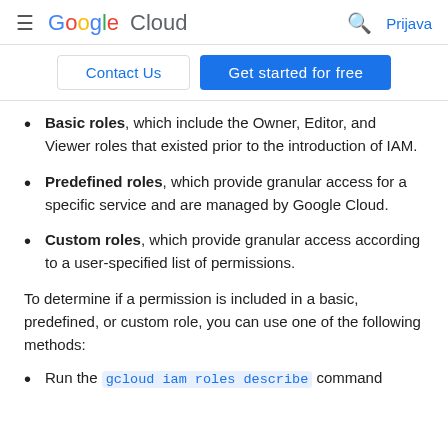Google Cloud — Prijava
Basic roles, which include the Owner, Editor, and Viewer roles that existed prior to the introduction of IAM.
Predefined roles, which provide granular access for a specific service and are managed by Google Cloud.
Custom roles, which provide granular access according to a user-specified list of permissions.
To determine if a permission is included in a basic, predefined, or custom role, you can use one of the following methods:
Run the gcloud iam roles describe command